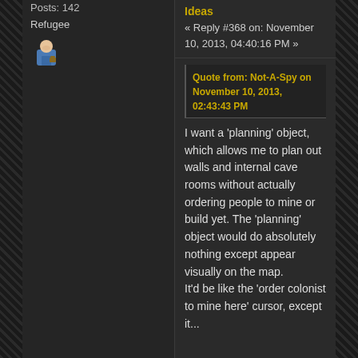Posts: 142
Refugee
[Figure (illustration): Avatar icon of a person with blue outfit and small briefcase]
Ideas « Reply #368 on: November 10, 2013, 04:40:16 PM »
Quote from: Not-A-Spy on November 10, 2013, 02:43:43 PM
I want a 'planning' object, which allows me to plan out walls and internal cave rooms without actually ordering people to mine or build yet. The 'planning' object would do absolutely nothing except appear visually on the map.
It'd be like the 'order colonist to mine here' cursor, except it...